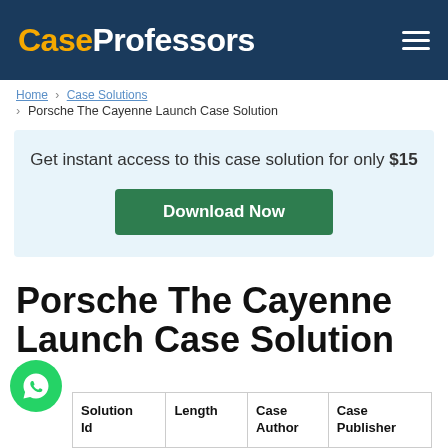CaseProfessors
Home › Case Solutions › Porsche The Cayenne Launch Case Solution
Get instant access to this case solution for only $15
Download Now
Porsche The Cayenne Launch Case Solution
| Solution Id | Length | Case Author | Case Publisher |
| --- | --- | --- | --- |